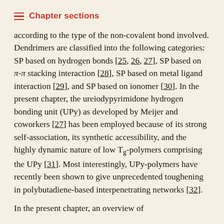Chapter sections
according to the type of the non-covalent bond involved. Dendrimers are classified into the following categories: SP based on hydrogen bonds [25, 26, 27], SP based on π-π stacking interaction [28], SP based on metal ligand interaction [29], and SP based on ionomer [30]. In the present chapter, the ureiodypyrimidone hydrogen bonding unit (UPy) as developed by Meijer and coworkers [27] has been employed because of its strong self-association, its synthetic accessibility, and the highly dynamic nature of low Tg-polymers comprising the UPy [31]. Most interestingly, UPy-polymers have recently been shown to give unprecedented toughening in polybutadiene-based interpenetrating networks [32].
In the present chapter, an overview of